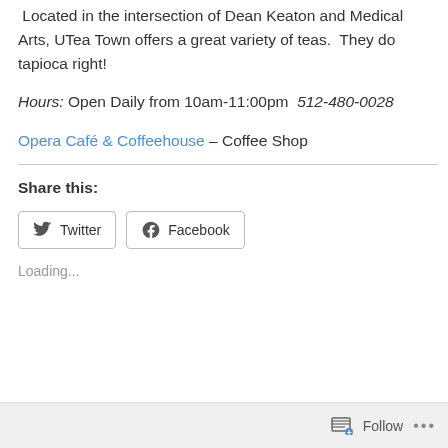Located in the intersection of Dean Keaton and Medical Arts, UTea Town offers a great variety of teas. They do tapioca right!
Hours: Open Daily from 10am-11:00pm  512-480-0028
Opera Café & Coffeehouse – Coffee Shop
Share this:
Twitter  Facebook
Loading...
Follow  ...